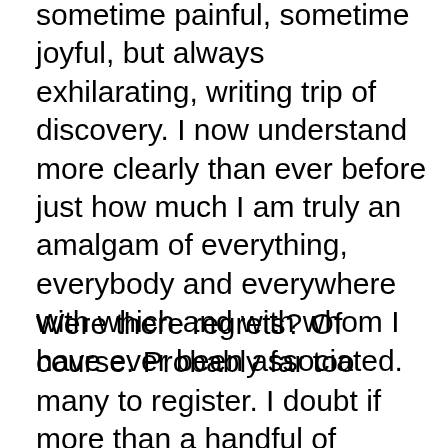sometime painful, sometime joyful, but always exhilarating, writing trip of discovery. I now understand more clearly than ever before just how much I am truly an amalgam of everything, everybody and everywhere with which and with whom I have ever been associated.
Were there regrets? Of course. Probably far too many to register. I doubt if more than a handful of people on this planet have led a flawless, blameless existence. But I do know that every single incident and experience, good, bad and indifferent, was necessary to bring me to this moment in my life. And I would not seek to change one second of it.
It is amazing how memories bring back not only the plain telling of the story, but for me, it also recalled the feelings and emotions that I had in most of them. I felt them again, and as images came with head to that...